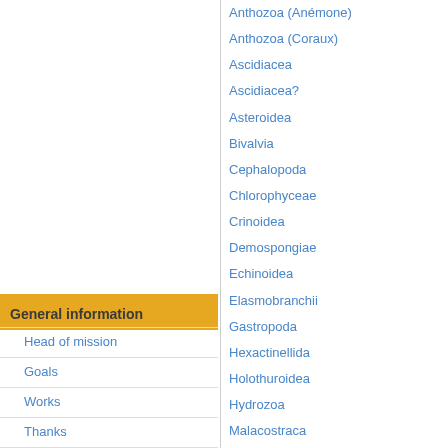Anthozoa (Anémone)
Anthozoa (Coraux)
Ascidiacea
Ascidiacea?
Asteroidea
Bivalvia
Cephalopoda
Chlorophyceae
Crinoidea
Demospongiae
Echinoidea
Elasmobranchii
Gastropoda
Hexactinellida
Holothuroidea
Hydrozoa
Malacostraca
Maxillopoda
N.I.
Ophiuroidea
Polychaeta
Polychaeta Tubes?
Pycnogonida
Rhodophyta ???
General information
Head of mission
Goals
Works
Thanks